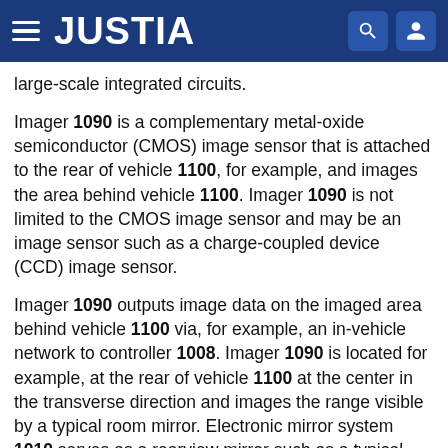JUSTIA
large-scale integrated circuits.
Imager 1090 is a complementary metal-oxide semiconductor (CMOS) image sensor that is attached to the rear of vehicle 1100, for example, and images the area behind vehicle 1100. Imager 1090 is not limited to the CMOS image sensor and may be an image sensor such as a charge-coupled device (CCD) image sensor.
Imager 1090 outputs image data on the imaged area behind vehicle 1100 via, for example, an in-vehicle network to controller 1008. Imager 1090 is located for example, at the rear of vehicle 1100 at the center in the transverse direction and images the range visible by a typical room mirror. Electronic mirror system 1010 serves as a rearview mirror such as a typical room mirror. Since imager 1090 is attached to the rear of